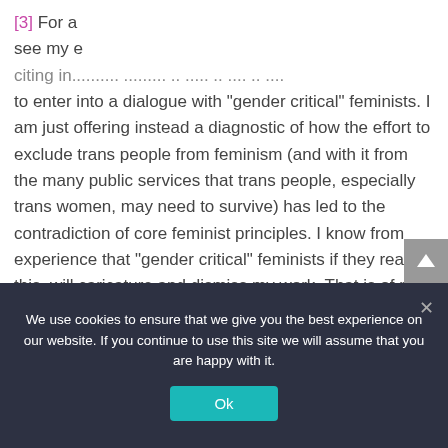[3] For a see my e citing in... ______ ______ __ _____ __ _____ __ ____ to enter into a dialogue with “gender critical” feminists. I am just offering instead a diagnostic of how the effort to exclude trans people from feminism (and with it from the many public services that trans people, especially trans women, may need to survive) has led to the contradiction of core feminist principles. I know from experience that “gender critical” feminists if they read this, will caricature and dismiss my work. That is of no concern to me.
We use cookies to ensure that we give you the best experience on our website. If you continue to use this site we will assume that you are happy with it.